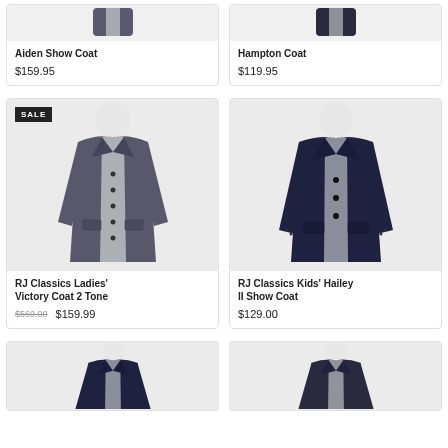Aiden Show Coat
$159.95
Hampton Coat
$119.95
[Figure (photo): RJ Classics Ladies Victory Coat 2 Tone show coat on mannequin, dark charcoal color, with SALE badge]
RJ Classics Ladies' Victory Coat 2 Tone
$569.00 $159.99
[Figure (photo): RJ Classics Kids Hailey II Show Coat on mannequin, navy color]
RJ Classics Kids' Hailey II Show Coat
$129.00
[Figure (photo): Partial view of show coat on mannequin, bottom row left]
[Figure (photo): Partial view of show coat on mannequin, bottom row right]